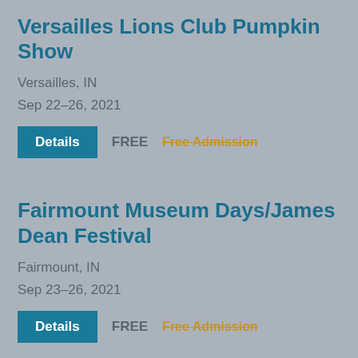Versailles Lions Club Pumpkin Show
Versailles, IN
Sep 22–26, 2021
Details  FREE  Free Admission
Fairmount Museum Days/James Dean Festival
Fairmount, IN
Sep 23–26, 2021
Details  FREE  Free Admission